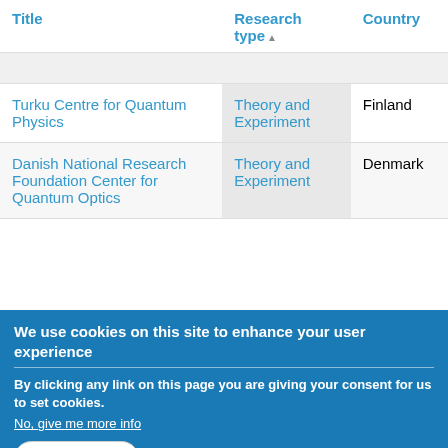| Title | Research type▲ | Country |
| --- | --- | --- |
|  |  |  |
| Turku Centre for Quantum Physics | Theory and Experiment | Finland |
| Danish National Research Foundation Center for Quantum Optics | Theory and Experiment | Denmark |
We use cookies on this site to enhance your user experience
By clicking any link on this page you are giving your consent for us to set cookies.
No, give me more info
OK, I agree